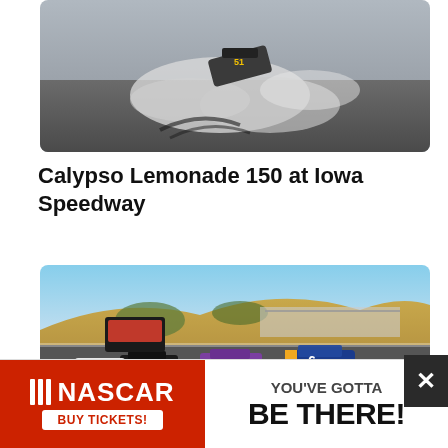[Figure (photo): NASCAR race car spinning out with smoke on a race track, aerial view]
Calypso Lemonade 150 at Iowa Speedway
[Figure (photo): NASCAR Xfinity Series cars racing on Sonoma Raceway road course, hilly landscape in background with spectators]
General Tire 200 at Sonoma Raceway
[Figure (infographic): NASCAR advertisement banner: NASCAR logo with BUY TICKETS button on red background, YOU'VE GOTTA BE THERE! text on white background]